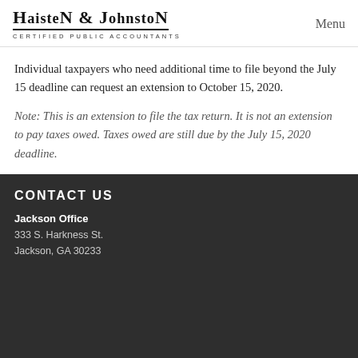HAISTEN & JOHNSTON
CERTIFIED PUBLIC ACCOUNTANTS
Individual taxpayers who need additional time to file beyond the July 15 deadline can request an extension to October 15, 2020.
Note: This is an extension to file the tax return. It is not an extension to pay taxes owed. Taxes owed are still due by the July 15, 2020 deadline.
CONTACT US
Jackson Office
333 S. Harkness St.
Jackson, GA 30233